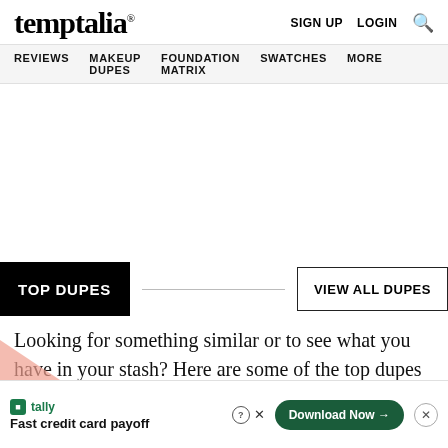temptalia® — SIGN UP  LOGIN  🔍
REVIEWS  MAKEUP DUPES  FOUNDATION MATRIX  SWATCHES  MORE
TOP DUPES
VIEW ALL DUPES
Looking for something similar or to see what you have in your stash? Here are some of the top dupes for this product!
[Figure (infographic): Tally advertisement banner at bottom: 'Fast credit card payoff' with Download Now button and close (×) button]